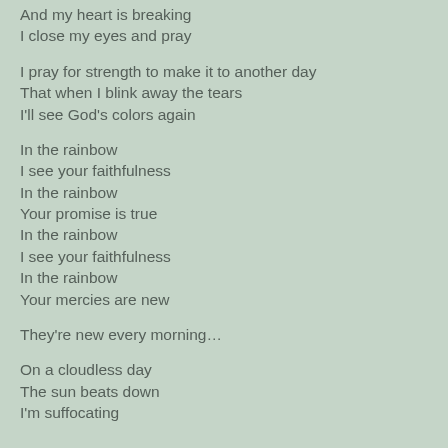And my heart is breaking
I close my eyes and pray

I pray for strength to make it to another day
That when I blink away the tears
I'll see God's colors again

In the rainbow
I see your faithfulness
In the rainbow
Your promise is true
In the rainbow
I see your faithfulness
In the rainbow
Your mercies are new

They're new every morning…

On a cloudless day
The sun beats down
I'm suffocating